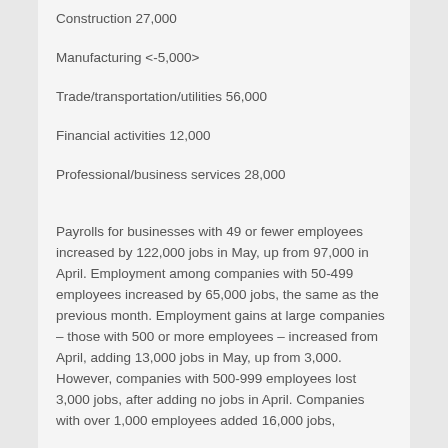Construction 27,000
Manufacturing <-5,000>
Trade/transportation/utilities 56,000
Financial activities 12,000
Professional/business services 28,000
Payrolls for businesses with 49 or fewer employees increased by 122,000 jobs in May, up from 97,000 in April. Employment among companies with 50-499 employees increased by 65,000 jobs, the same as the previous month. Employment gains at large companies – those with 500 or more employees – increased from April, adding 13,000 jobs in May, up from 3,000. However, companies with 500-999 employees lost 3,000 jobs, after adding no jobs in April. Companies with over 1,000 employees added 16,000 jobs,